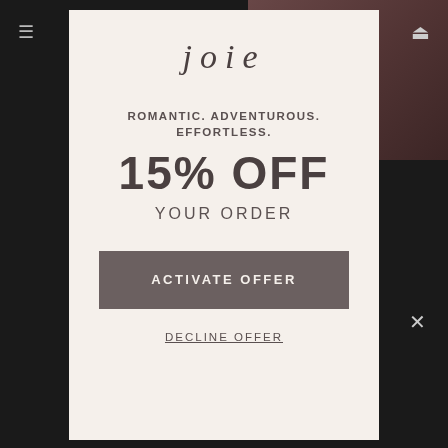[Figure (screenshot): Dark website background with navigation bar showing hamburger menu and cart icon, and a reddish-brown gradient in top right corner]
joie
ROMANTIC. ADVENTUROUS. EFFORTLESS.
15% OFF
YOUR ORDER
ACTIVATE OFFER
DECLINE OFFER